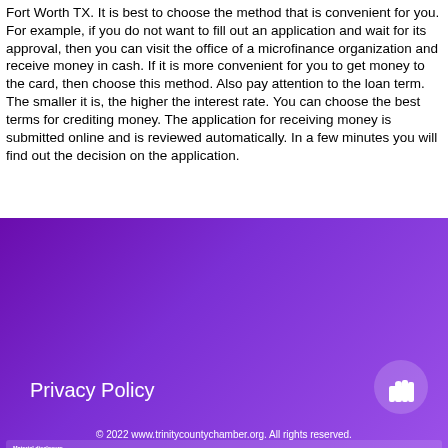Fort Worth TX. It is best to choose the method that is convenient for you. For example, if you do not want to fill out an application and wait for its approval, then you can visit the office of a microfinance organization and receive money in cash. If it is more convenient for you to get money to the card, then choose this method. Also pay attention to the loan term. The smaller it is, the higher the interest rate. You can choose the best terms for crediting money. The application for receiving money is submitted online and is reviewed automatically. In a few minutes you will find out the decision on the application.
Material disclosure: APR Disclosure. Some states have laws limiting the Annual Percentage Rate (APR) that a lender can charge you. APRs for cash advance loans range from 200% to 1386%, APRs for installment loans range from 6.63% to 485%, and APRs for personal loans range from 4.99% to 450% and vary by lender. Loans from a state that has no limiting laws or loans from a bank not governed by state laws may have an even higher APR. The APR is the rate at which your loan accrues interest and is based upon the amount, cost and term of your loan, repayment amounts and timing of payments. Lenders are legally required to show you the APR and other terms of your loan before you execute a loan agreement. APR rates are subject to change. Material Disclosure. The operator of this website is not a lender, loan broker or agent for any lender or loan broker. We are an advertising referral service to qualified participating lenders that may be able to provide amounts between $100 and $1,000 for cash advance loans, up to $5,000 for installment loans, and up to $35,000 for personal loans. Not all lenders can provide these amounts and there is no guarantee that you will be accepted by an independent, participating lender. This service does not constitute an offer or solicitation for loan products which are prohibited by any state law. This is not a solicitation for a particular loan and is not an offer to lend. We do not endorse or charge you for any service or product. Any compensation received is paid by participating lenders and only for advertising services provided. This service and offer are void where prohibited. We do not control and are not responsible for the actions of any lender. We do not have access to the full terms of your loan, including APR, fee details, conditions or concerns regarding your loan. Please contact your lender directly. Only your lender can provide you with information about your specific loan terms, their current rates and charges, renewal, payments and the implications for non-payment or skipped payments. The registration information submitted by you on this website will be shared with one or more participating lenders. You are under no obligation to use our service to initiate contact with a lender, register for credit or any loan product, or accept a loan from a participating lender. Cash transfer times and repayment terms vary between lenders. Repayment terms may be regulated by state and local laws. Some faxing may be required. Be sure to review our FAQs for additional information on issues such as credit and late payment implications. These disclosures are provided to you for information purposes only and should not be considered legal advice. Use of this service is subject to this site's Terms of Use and Privacy Policy. Exclusions. Residents of some states may not be eligible for some or all short-term, small-dollar loans. Residents of Arkansas, New York, Vermont and West Virginia are not eligible to use this website or service. The states serviced by this website may change from time to time, without notice. Credit Implications. The operator of this website does not make any credit decisions. Independent, participating lenders that you might be connected with may perform credit checks with credit reporting bureaus or obtain consumer reports, typically through alternative providers to determine credit worthiness, credit standing and/or credit capacity. By submitting your information, you agree to allow participating lenders to verify your information and check your credit. Loans provided by independent, participating lenders in our network are designed to provide cash to you to be repaid within a short amount of time. The short-term loans are not a solution for long-term debt and credit difficulties. Only borrow an amount that can be repaid on the date of your next pay period. Consider seeking professional advice regarding your financial needs, risks and alternatives to short-term loans. Late Payments of loans may result in additional fees or collection activities, or both. Each lender has their own terms and conditions, please review their policies for further information. Nonpayment of credit could result in collection activities. Every lender has its own renewal policy, which may differ from lender to lender. Please review your lender's renewal policy.
Privacy Policy
© 2022 www.trinitycountychamber.org. All rights reserved.